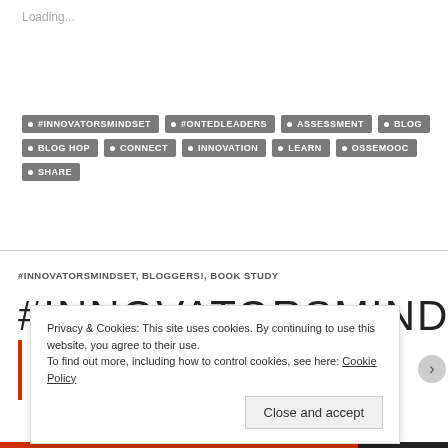Loading...
#INNOVATORSMINDSET
#ONTEDLEADERS
ASSESSMENT
BLOG
BLOG HOP
CONNECT
INNOVATION
LEARN
OSSEMOOC
SHARE
#INNOVATORSMINDSET, BLOGGERS!, BOOK STUDY
#INNOVATORSMINDSET
Privacy & Cookies: This site uses cookies. By continuing to use this website, you agree to their use.
To find out more, including how to control cookies, see here: Cookie Policy
Close and accept